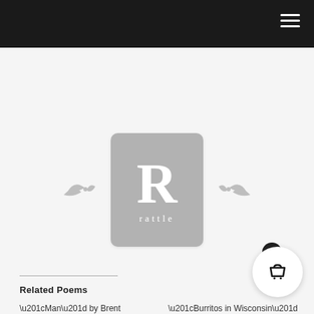[Figure (logo): Rattle poetry magazine logo — grey rounded rectangle with large white letter R and word 'rattle' below, flanked by decorative flourishes]
Related Poems
“Man” by Brent Goodman
“Burritos in Wisconsin” by